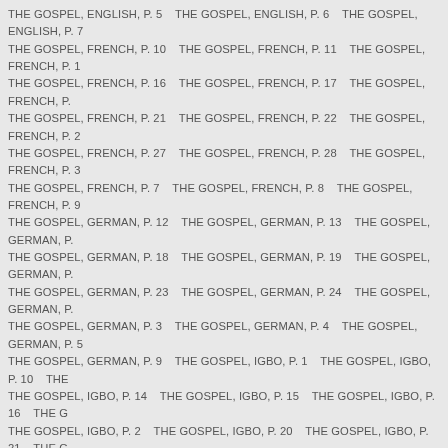THE GOSPEL, ENGLISH, P. 5    THE GOSPEL, ENGLISH, P. 6    THE GOSPEL, ENGLISH, P. 7    THE GOSPEL, FRENCH, P. 10    THE GOSPEL, FRENCH, P. 11    THE GOSPEL, FRENCH, P. 1    THE GOSPEL, FRENCH, P. 16    THE GOSPEL, FRENCH, P. 17    THE GOSPEL, FRENCH, P.    THE GOSPEL, FRENCH, P. 21    THE GOSPEL, FRENCH, P. 22    THE GOSPEL, FRENCH, P. 2    THE GOSPEL, FRENCH, P. 27    THE GOSPEL, FRENCH, P. 28    THE GOSPEL, FRENCH, P. 3    THE GOSPEL, FRENCH, P. 7    THE GOSPEL, FRENCH, P. 8    THE GOSPEL, FRENCH, P. 9    THE GOSPEL, GERMAN, P. 12    THE GOSPEL, GERMAN, P. 13    THE GOSPEL, GERMAN, P.    THE GOSPEL, GERMAN, P. 18    THE GOSPEL, GERMAN, P. 19    THE GOSPEL, GERMAN, P.    THE GOSPEL, GERMAN, P. 23    THE GOSPEL, GERMAN, P. 24    THE GOSPEL, GERMAN, P.    THE GOSPEL, GERMAN, P. 3    THE GOSPEL, GERMAN, P. 4    THE GOSPEL, GERMAN, P. 5    THE GOSPEL, GERMAN, P. 9    THE GOSPEL, IGBO, P. 1    THE GOSPEL, IGBO, P. 10    THE    THE GOSPEL, IGBO, P. 14    THE GOSPEL, IGBO, P. 15    THE GOSPEL, IGBO, P. 16    THE G    THE GOSPEL, IGBO, P. 2    THE GOSPEL, IGBO, P. 20    THE GOSPEL, IGBO, P. 21    THE G    THE GOSPEL, IGBO, P. 25    THE GOSPEL, IGBO, P. 26    THE GOSPEL, IGBO, P. 27    THE G    THE GOSPEL, IGBO, P. 5    THE GOSPEL, IGBO, P. 6    THE GOSPEL, IGBO, P. 7    THE GOS    THE GOSPEL, INDONESIAN, P. 10    THE GOSPEL, INDONESIAN, P. 11    THE GOSPEL, INDO    THE GOSPEL, INDONESIAN, P. 15    THE GOSPEL, INDONESIAN, P. 16    THE GOSPEL, INDO    THE GOSPEL, INDONESIAN, P. 2    THE GOSPEL, INDONESIAN, P. 20    THE GOSPEL, INDO    THE GOSPEL, INDONESIAN, P. 24    THE GOSPEL, INDONESIAN, P. 25    THE GOSPEL, INDO    THE GOSPEL, INDONESIAN, P. 3    THE GOSPEL, INDONESIAN, P. 4    THE GOSPEL, INDON    THE GOSPEL, INDONESIAN, P. 8    THE GOSPEL, INDONESIAN, P. 9    THE GOSPEL, ITALIA    THE GOSPEL, ITALIAN, P. 12    THE GOSPEL, ITALIAN, P. 13    THE GOSPEL, ITALIAN, P. 14